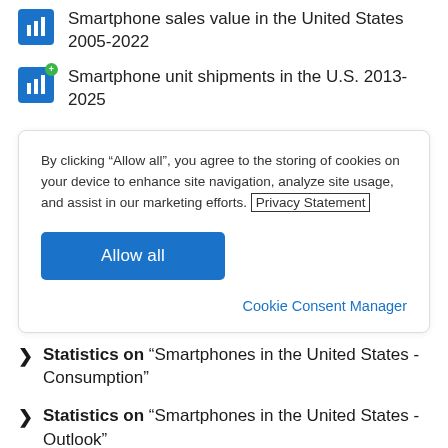Smartphone sales value in the United States 2005-2022
Smartphone unit shipments in the U.S. 2013-2025
By clicking “Allow all”, you agree to the storing of cookies on your device to enhance site navigation, analyze site usage, and assist in our marketing efforts. Privacy Statement
Allow all
Cookie Consent Manager
Statistics on “Smartphones in the United States - Consumption”
Statistics on “Smartphones in the United States - Outlook”